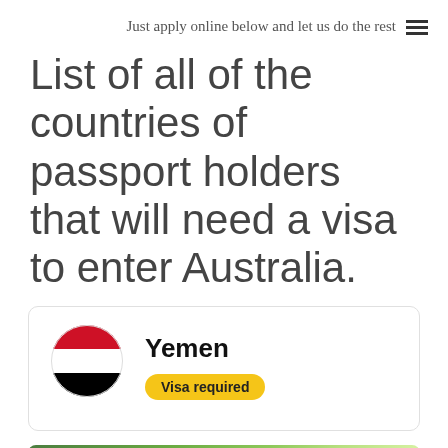Just apply online below and let us do the rest
List of all of the countries of passport holders that will need a visa to enter Australia.
[Figure (infographic): Yemen country card with Yemen flag circle (red, white, black horizontal stripes), country name 'Yemen', and a yellow 'Visa required' badge]
[Figure (photo): Close-up photo of a green lizard/chameleon on a green blurred background]